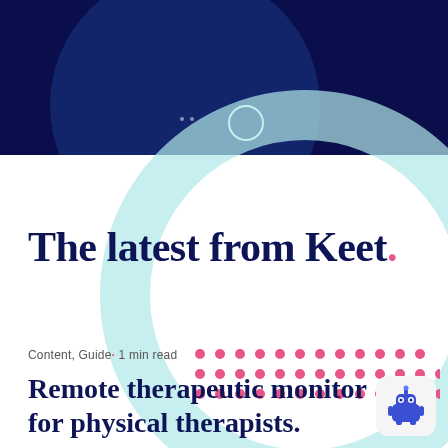[Figure (illustration): Dark navy banner with a large dark blue circle partially visible, two small white dots and a small white circle outline, and a large light teal ring circle overlapping into the white area below.]
The latest from Keet.
Content, Guide· 1 min read
Remote therapeutic monitoring for physical therapists.